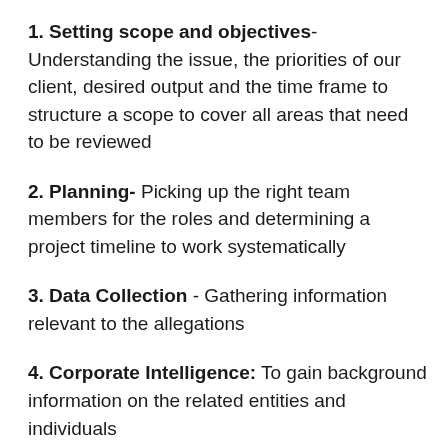1. Setting scope and objectives- Understanding the issue, the priorities of our client, desired output and the time frame to structure a scope to cover all areas that need to be reviewed
2. Planning- Picking up the right team members for the roles and determining a project timeline to work systematically
3. Data Collection - Gathering information relevant to the allegations
4. Corporate Intelligence: To gain background information on the related entities and individuals